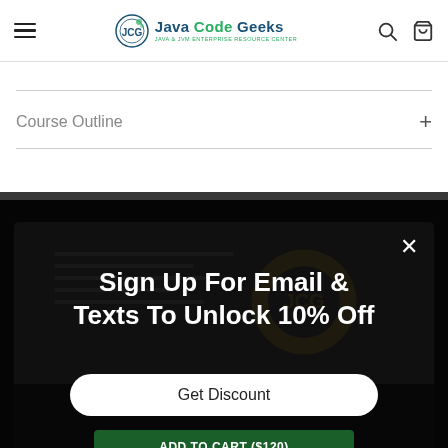[Figure (screenshot): Java Code Geeks website header with hamburger menu, logo, search and cart icons]
Course Outline +
[Figure (screenshot): Dark modal overlay with 'Sign Up For Email & Texts To Unlock 10% Off' text, a close (×) button, a 'Get Discount' button, and partially visible 'ADD TO CART ($120)' green button below.]